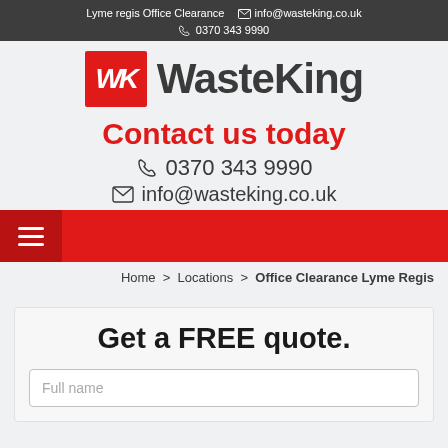Lyme regis Office Clearance  info@wasteking.co.uk  0370 343 9990
[Figure (logo): WasteKing logo: red square with white italic WK, followed by dark bold WasteKing text]
Contact us today
0370 343 9990
info@wasteking.co.uk
[Figure (other): Red navigation bar with hamburger menu icon on left]
Home > Locations > Office Clearance Lyme Regis
Get a FREE quote.
Full name